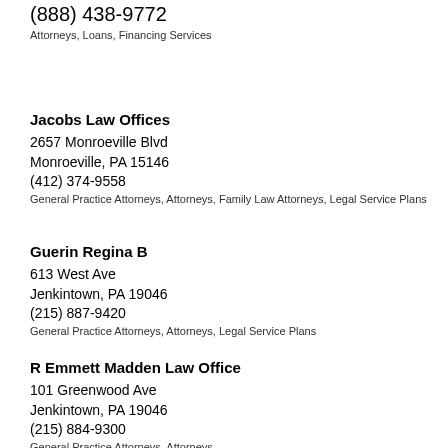(888) 438-9772
Attorneys, Loans, Financing Services
Jacobs Law Offices
2657 Monroeville Blvd
Monroeville, PA 15146
(412) 374-9558
General Practice Attorneys, Attorneys, Family Law Attorneys, Legal Service Plans
Guerin Regina B
613 West Ave
Jenkintown, PA 19046
(215) 887-9420
General Practice Attorneys, Attorneys, Legal Service Plans
R Emmett Madden Law Office
101 Greenwood Ave
Jenkintown, PA 19046
(215) 884-9300
General Practice Attorneys, Attorneys